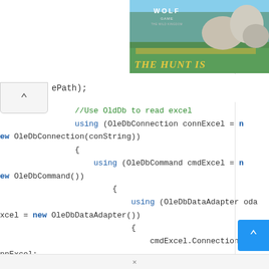[Figure (screenshot): Wolf Game: The Wild Kingdom advertisement banner showing wolves in a meadow with text 'THE HUNT IS']
ePath);
[Figure (screenshot): Code block showing C# code using OldDb to read excel with OleDbConnection, OleDbCommand, OleDbDataAdapter]
x